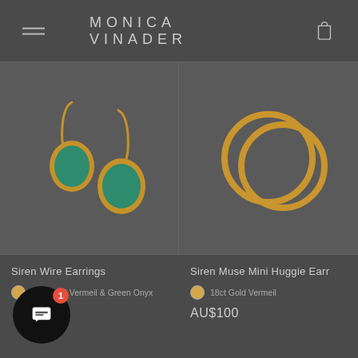MONICA VINADER
[Figure (photo): Product image of Siren Wire Earrings – two gold hook earrings with green onyx oval gemstones, on dark background]
Siren Wire Earrings
18ct Gold Vermeil & Green Onyx
[Figure (photo): Product image of Siren Muse Mini Huggie Earrings – two gold circular hoop earrings, on dark background]
Siren Muse Mini Huggie Earr...
18ct Gold Vermeil
AU$100